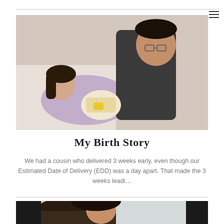[Figure (photo): A man leaning over a woman holding a newborn baby in a hospital room. The woman is wearing a purple gown and lying in a hospital bed. The man is wearing a dark t-shirt and glasses.]
My Birth Story
We had a cousin who delivered 3 weeks early, even though our Estimated Date of Delivery (EDD) was a day apart. That made the 3 weeks leadi…
[Figure (photo): Partial view of a person with dark hair, appearing to be inside a vehicle, visible from approximately shoulder up.]